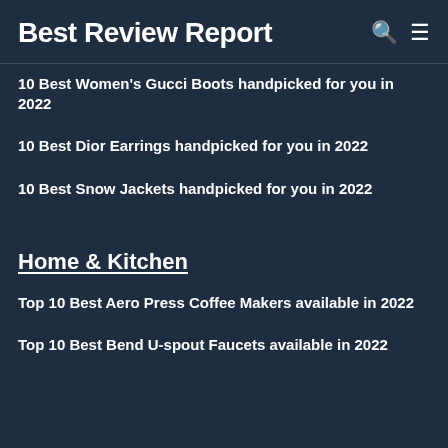Best Review Report
10 Best Women's Gucci Boots handpicked for you in 2022
10 Best Dior Earrings handpicked for you in 2022
10 Best Snow Jackets handpicked for you in 2022
Home & Kitchen
Top 10 Best Aero Press Coffee Makers available in 2022
Top 10 Best Bend U-spout Faucets available in 2022